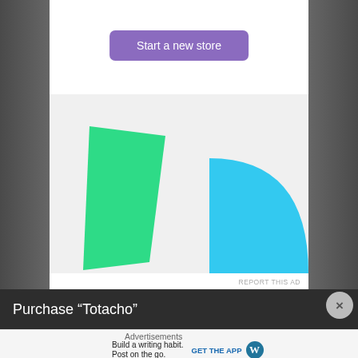[Figure (illustration): Advertisement with purple 'Start a new store' button above a light gray graphic area containing abstract green and blue shapes (green angular form on left, cyan arc/quarter-circle on right).]
REPORT THIS AD
Purchase “Totacho”
Advertisements
Build a writing habit. Post on the go.
GET THE APP